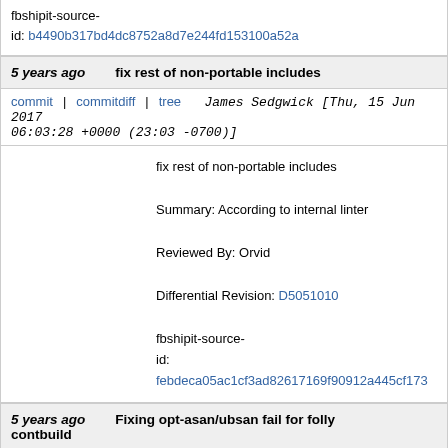fbshipit-source-id: b4490b317bd4dc8752a8d7e244fd153100a52a
5 years ago   fix rest of non-portable includes
commit | commitdiff | tree   James Sedgwick [Thu, 15 Jun 2017 06:03:28 +0000 (23:03 -0700)]
fix rest of non-portable includes

Summary: According to internal linter

Reviewed By: Orvid

Differential Revision: D5051010

fbshipit-source-id: febdeca05ac1cf3ad82617169f90912a445cf173
5 years ago   Fixing opt-asan/ubsan fail for folly contbuild
commit | commitdiff | tree   Jonathan Kron [Wed, 14 Jun 2017 15:46:15 +0000 (08:46 -0700)]
Fixing opt-asan/ubsan fail for folly contbuild

Summary: Flag caused compilation error on unused...